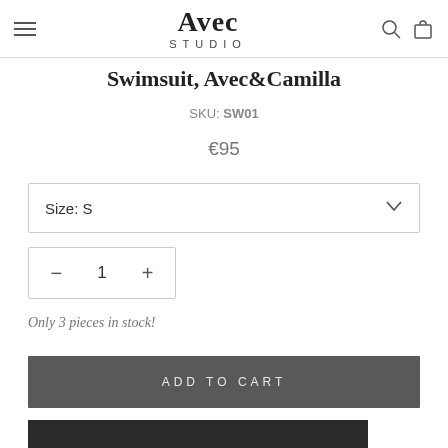Avec Studio — navigation header with hamburger menu, logo, search and cart icons
Swimsuit, Avec&Camilla
SKU: SW01
€95
Size: S
1
Only 3 pieces in stock!
ADD TO CART